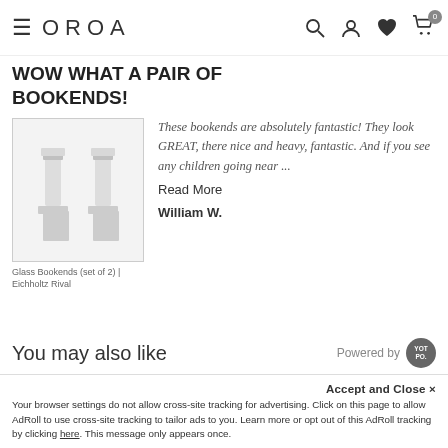≡ OROA [search] [account] [wishlist] [cart 0]
WOW WHAT A PAIR OF BOOKENDS!
[Figure (photo): Glass bookends product photo showing two crystal/glass column-style bookends on white background]
Glass Bookends (set of 2) | Eichholtz Rival
These bookends are absolutely fantastic! They look GREAT, there nice and heavy, fantastic. And if you see any children going near ...
Read More
William W.
You may also like
Powered by YOT PO.
[Figure (photo): Product card placeholder — partially visible product image area]
Abstract Oil Paintings (2) | Liang & Eimil...
Accept and Close ✕
Your browser settings do not allow cross-site tracking for advertising. Click on this page to allow AdRoll to use cross-site tracking to tailor ads to you. Learn more or opt out of this AdRoll tracking by clicking here. This message only appears once.